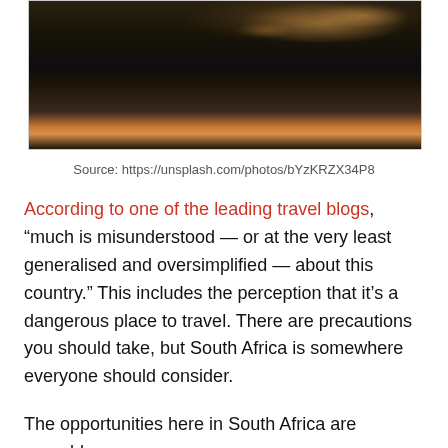[Figure (photo): Aerial/panoramic view of a mountainous landscape at dusk with city lights visible in the background, likely Cape Town, South Africa]
Source: https://unsplash.com/photos/bYzKRZX34P8
According to one of the leading travel blogs, “much is misunderstood — or at the very least generalised and oversimplified — about this country.” This includes the perception that it’s a dangerous place to travel. There are precautions you should take, but South Africa is somewhere everyone should consider.
The opportunities here in South Africa are arguably